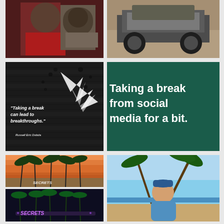[Figure (photo): Person in red costume with a large bird/mascot character]
[Figure (photo): Off-road vehicle/ATV loaded with items on sandy terrain]
[Figure (photo): Quote card with dark exploding background: 'Taking a break can lead to breakthroughs.' - Russell Eric Dobda]
[Figure (photo): Green card with white text: 'Taking a break from social media for a bit.']
[Figure (photo): Tropical beach sunset with palm trees bending in wind and Secrets resort sign]
[Figure (photo): Secrets resort sign illuminated at night with palm trees lit in green and purple]
[Figure (photo): Man taking selfie outdoors near palm trees with ocean/sky in background]